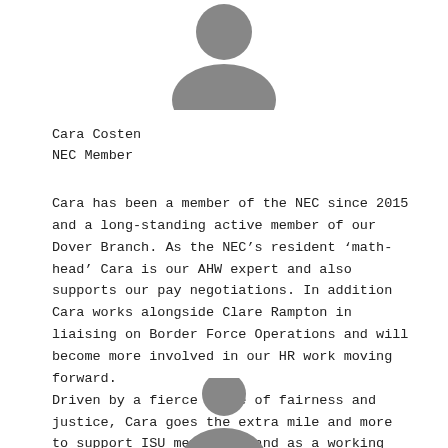[Figure (illustration): Silhouette avatar icon of a person (head and shoulders), grey color, top of page]
Cara Costen
NEC Member
Cara has been a member of the NEC since 2015 and a long-standing active member of our Dover Branch. As the NEC’s resident ‘math-head’ Cara is our AHW expert and also supports our pay negotiations. In addition Cara works alongside Clare Rampton in liaising on Border Force Operations and will become more involved in our HR work moving forward.
Driven by a fierce sense of fairness and justice, Cara goes the extra mile and more to support ISU members – and as a working mother she is determined to support improved work/life balance for all members.
[Figure (illustration): Silhouette avatar icon of a person (head and shoulders), grey color, bottom of page, partially cropped]